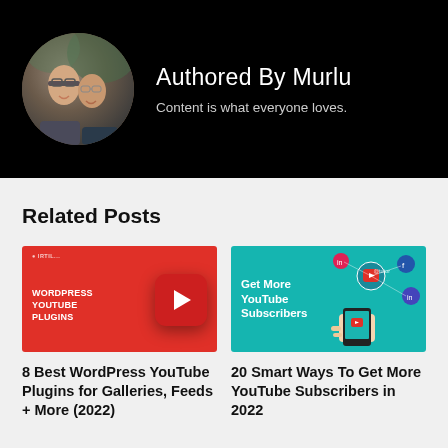[Figure (photo): Author banner with circular profile photo of two people on black background, with name 'Authored By Murlu' and tagline 'Content is what everyone loves.']
Authored By Murlu
Content is what everyone loves.
Related Posts
[Figure (screenshot): Red thumbnail image with text 'WORDPRESS YOUTUBE PLUGINS' and a YouTube-style red rounded square icon with play button]
[Figure (screenshot): Teal thumbnail image with text 'Get More YouTube Subscribers' and network graphic with social media icons on right side]
8 Best WordPress YouTube Plugins for Galleries, Feeds + More (2022)
20 Smart Ways To Get More YouTube Subscribers in 2022